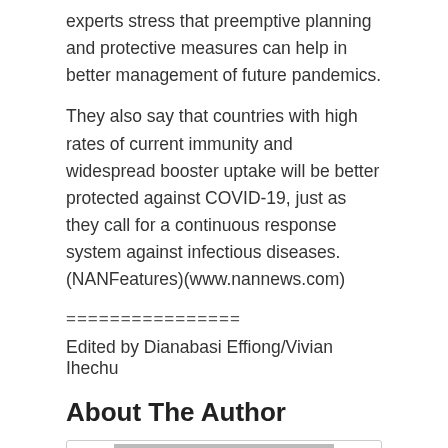experts stress that preemptive planning and protective measures can help in better management of future pandemics.
They also say that countries with high rates of current immunity and widespread booster uptake will be better protected against COVID-19, just as they call for a continuous response system against infectious diseases. (NANFeatures)(www.nannews.com)
================
Edited by Dianabasi Effiong/Vivian Ihechu
About The Author
[Figure (photo): Author placeholder image — grey rectangle with white circle in center]